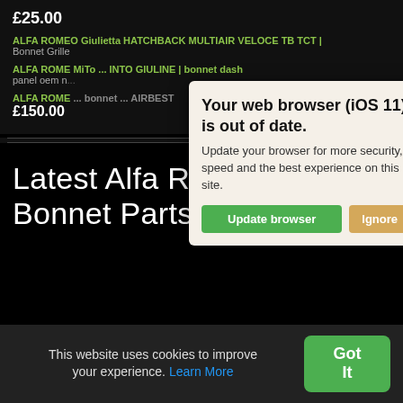£25.00
ALFA ROMEO Giulietta HATCHBACK MULTIAIR VELOCE TB TCT | Bonnet Grille
ALFA ROMEO ... panel oem n...
ALFA ROMEO ... £150.00
[Figure (screenshot): Browser out-of-date modal dialog with beige background. Title: 'Your web browser (iOS 11) is out of date.' Body: 'Update your browser for more security, speed and the best experience on this site.' Two buttons: 'Update browser' (green) and 'Ignore' (tan/gold).]
Latest Alfa Romeo GT Bonnet Parts Searches
This website uses cookies to improve your experience. Learn More
Got It